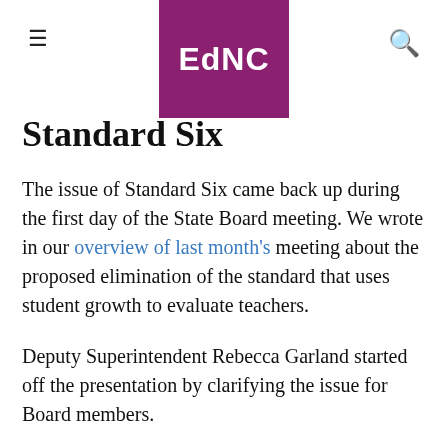EdNC
Standard Six
The issue of Standard Six came back up during the first day of the State Board meeting. We wrote in our overview of last month's meeting about the proposed elimination of the standard that uses student growth to evaluate teachers.
Deputy Superintendent Rebecca Garland started off the presentation by clarifying the issue for Board members.
“In the media, it has been reported that the State Board of Education is considering eliminating growth from teacher evaluation.”